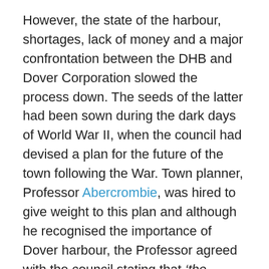However, the state of the harbour, shortages, lack of money and a major confrontation between the DHB and Dover Corporation slowed the process down. The seeds of the latter had been sown during the dark days of World War II, when the council had devised a plan for the future of the town following the War. Town planner, Professor Abercrombie, was hired to give weight to this plan and although he recognised the importance of Dover harbour, the Professor agreed with the council stating that ‘the lifeblood of a town of the nature of Dover is undoubtedly its industry.’ He went on to recommended the demolition of East Cliff and Athol Terrace to be replaced by a wide access road to the Eastern Dockyard that had been earmarked for industrial purposes.
DHB vehemently opposed the plan but was over-ruled in court. Albeit, in November 1948, against strenuous